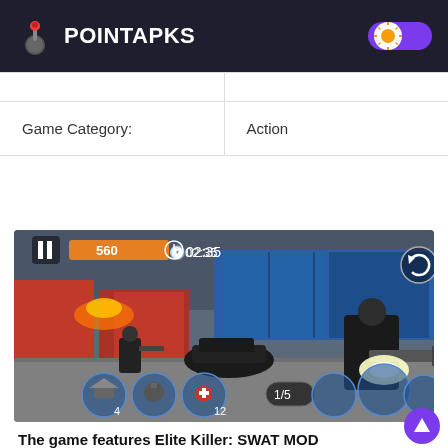POINTAPKS
|  |  |
| Game Category: | Action |
[Figure (screenshot): Screenshot of Elite Killer: SWAT mobile game showing a third-person shooter scene with score 560, timer 02:35, player character firing a machine gun at enemies near shipping containers, with weapon inventory UI at bottom.]
The game features Elite Killer: SWAT MOD